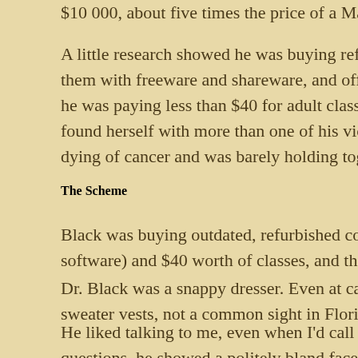$10 000, about five times the price of a Mac at the time.
A little research showed he was buying refurbished units from them with freeware and shareware, and offering training wo he was paying less than $40 for adult classes at Winter Pa found herself with more than one of his victims in her class dying of cancer and was barely holding together emotionall
The Scheme
Black was buying outdated, refurbished computers for a few software) and $40 worth of classes, and then selling them a
Dr. Black was a snappy dresser. Even at casual gatherings sweater vests, not a common sight in Florida.
He liked talking to me, even when I'd call him on some of h questions, he showed a politely bland face, no anger or irri feelings or felt nothing at all. Did he choose me just to have
he his other research was in the same way the